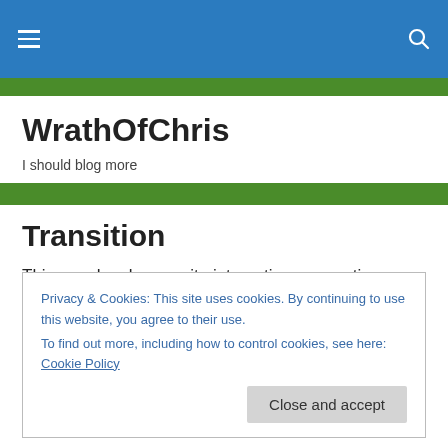WrathOfChris — navigation bar with hamburger menu and search icon
WrathOfChris
I should blog more
Transition
This year has been quite interesting, presenting me with some opportunities to reflect on transition.  A friend and
Privacy & Cookies: This site uses cookies. By continuing to use this website, you agree to their use.
To find out more, including how to control cookies, see here: Cookie Policy
Close and accept